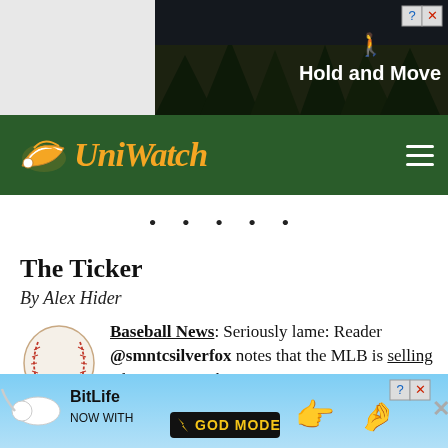[Figure (screenshot): Advertisement banner at top showing a video game 'Hold and Move' with scoreboard and trees in background]
Uni Watch logo and navigation bar
• • • • •
The Ticker
By Alex Hider
Baseball News: Seriously lame: Reader @smntcsilverfox notes that the MLB is selling advertising on their 404 page. …
Reader Johnny notes that there are some subtle differences between the uniforms that will be worn during...
[Figure (screenshot): BitLife mobile game advertisement with 'NOW WITH GOD MODE' text on blue background]